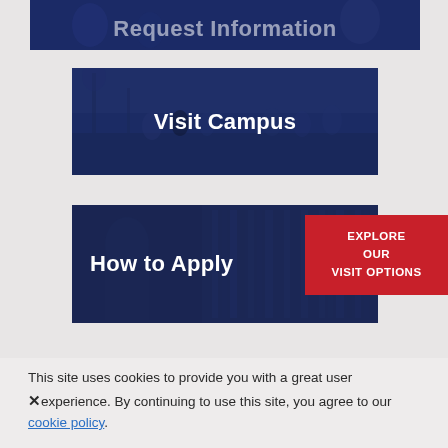[Figure (photo): Partial view of a banner image with dark blue overlay, partially cropped at top. Text 'Request Information' partially visible.]
[Figure (photo): Dark navy blue overlay image showing students walking on a campus outdoor area.]
Visit Campus
[Figure (photo): Dark navy blue overlay image showing a student studying near bookshelves.]
How to Apply
EXPLORE OUR VISIT OPTIONS
This site uses cookies to provide you with a great user experience. By continuing to use this site, you agree to our cookie policy.